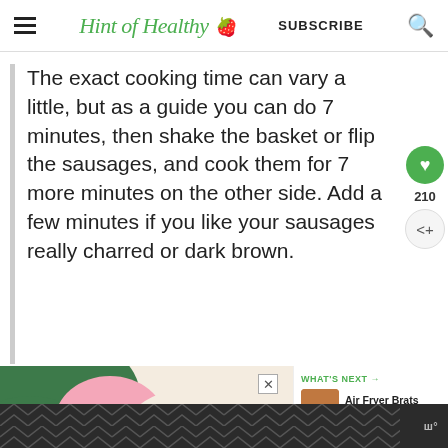Hint of Healthy 🍓 | SUBSCRIBE
The exact cooking time can vary a little, but as a guide you can do 7 minutes, then shake the basket or flip the sausages, and cook them for 7 more minutes on the other side. Add a few minutes if you like your sausages really charred or dark brown.
[Figure (other): Advertisement banner with colorful abstract shapes (green, pink, orange on cream background) and a 'What's Next' panel showing Air Fryer Brats (Bratwurst) thumbnail]
[Figure (other): Bottom advertisement bar with dark background and geometric chevron pattern, with a small logo on the right]